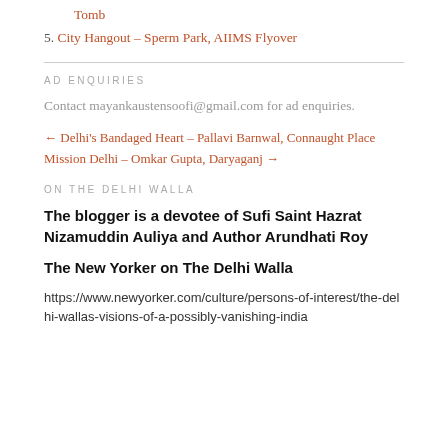Tomb
5. City Hangout – Sperm Park, AIIMS Flyover
AD ENQUIRIES
Contact mayankaustensoofi@gmail.com for ad enquiries.
← Delhi's Bandaged Heart – Pallavi Barnwal, Connaught Place
Mission Delhi – Omkar Gupta, Daryaganj →
ON THE DELHI WALLA
The blogger is a devotee of Sufi Saint Hazrat Nizamuddin Auliya and Author Arundhati Roy
The New Yorker on The Delhi Walla
https://www.newyorker.com/culture/persons-of-interest/the-delhi-wallas-visions-of-a-possibly-vanishing-india